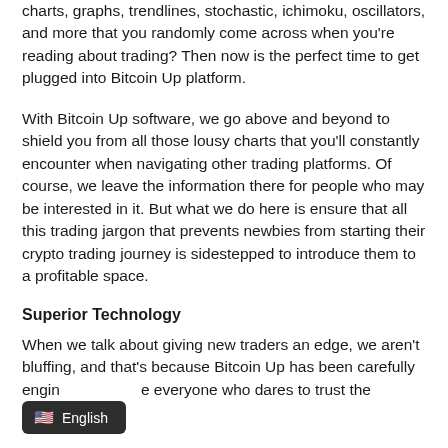charts, graphs, trendlines, stochastic, ichimoku, oscillators, and more that you randomly come across when you're reading about trading? Then now is the perfect time to get plugged into Bitcoin Up platform.
With Bitcoin Up software, we go above and beyond to shield you from all those lousy charts that you'll constantly encounter when navigating other trading platforms. Of course, we leave the information there for people who may be interested in it. But what we do here is ensure that all this trading jargon that prevents newbies from starting their crypto trading journey is sidestepped to introduce them to a profitable space.
Superior Technology
When we talk about giving new traders an edge, we aren't bluffing, and that's because Bitcoin Up has been carefully engineered to give everyone who dares to trust the platform a su...
[Figure (screenshot): Language selector bar showing US flag emoji and 'English' text on a dark rounded rectangle overlay]